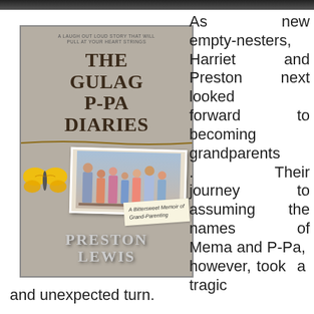[Figure (illustration): Book cover of 'The Gulag P-Pa Diaries' by Preston Lewis. Gray textured background with bold serif title, a photo of a family group, a yellow butterfly, a rope across the cover, a handwritten-style note reading 'A Bittersweet Memoir of Grand-Parenting', and the author name in large silver letters at the bottom. Subtitle at top reads 'A Laugh Out Loud Story That Will Pull At Your Heart Strings'.]
As new empty-nesters, Harriet and Preston next looked forward to becoming grandparents. Their journey to assuming the names of Mema and P-Pa, however, took a tragic and unexpected turn.